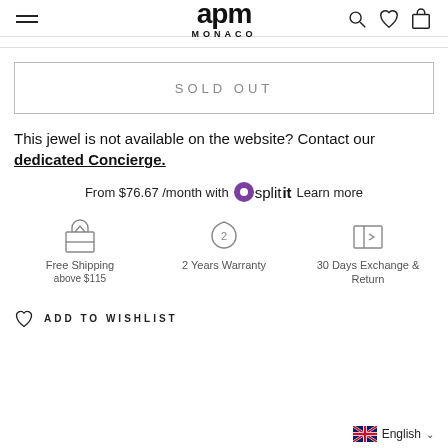apm MONACO
SOLD OUT
This jewel is not available on the website? Contact our dedicated Concierge.
From $76.67 /month with Splitit Learn more
[Figure (infographic): Three benefit icons: Free Shipping above $115, 2 Years Warranty, 30 Days Exchange & Return]
ADD TO WISHLIST
English